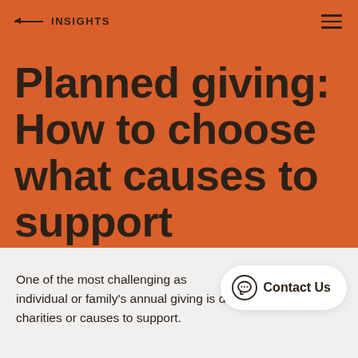← INSIGHTS
Planned giving: How to choose what causes to support
One of the most challenging aspects of an individual or family's annual giving is deciding which charities or causes to support.